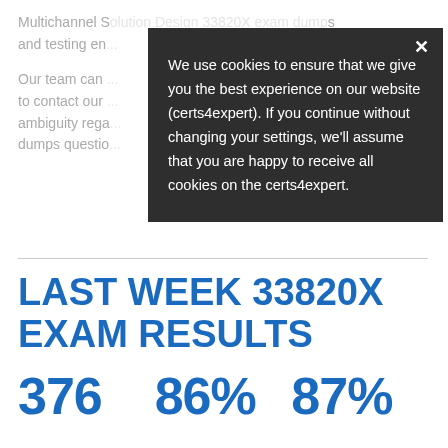Multichannel Solution Design 33820X exam dumps and testing en...
Our team can ... to contact our ... ambiguity rega... dumps questio...
[Figure (screenshot): Cookie consent modal overlay with dark background. Close button (×) in top-right. Text: 'We use cookies to ensure that we give you the best experience on our website (certs4expert). If you continue without changing your settings, we'll assume that you are happy to receive all cookies on the certs4expert.']
LAST WEEK 33820X EXAM RESULTS
376   86%   87%